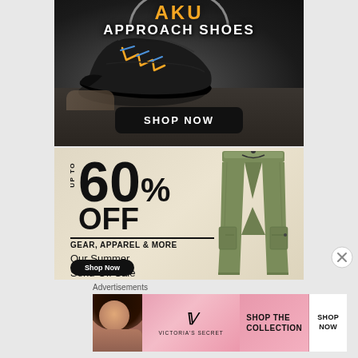[Figure (photo): AKU brand advertisement for approach shoes. Dark/grayscale background showing a close-up of hiking approach shoes with yellow and blue laces being tied. Yellow AKU logo at top, 'APPROACH SHOES' text, and a 'SHOP NOW' button.]
[Figure (photo): Outdoor gear sale advertisement showing 'UP TO 60% OFF' in large bold text, 'GEAR, APPAREL & MORE', 'Our Summer Send-Off Sale', a 'Shop Now' button, and olive green cargo pants on the right side.]
Advertisements
[Figure (photo): Victoria's Secret advertisement with pink gradient background. Shows a woman's photo on left, Victoria's Secret logo in center, 'SHOP THE COLLECTION' text, and a white 'SHOP NOW' button on right.]